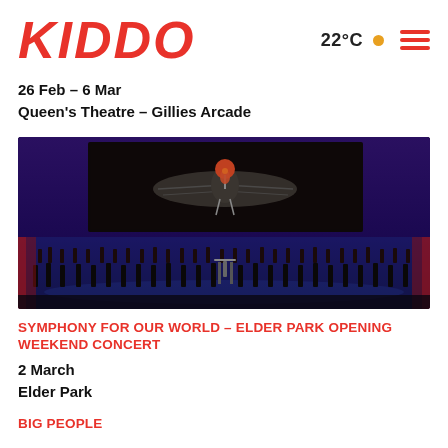KIDDO
22°C
26 Feb – 6 Mar
Queen's Theatre – Gillies Arcade
[Figure (photo): A concert hall stage with an orchestra performing beneath a large screen showing a hummingbird with wings spread wide against a dark background. The stage is lit with blue and purple light, with many musicians seated with instruments.]
SYMPHONY FOR OUR WORLD – ELDER PARK OPENING WEEKEND CONCERT
2 March
Elder Park
BIG PEOPLE